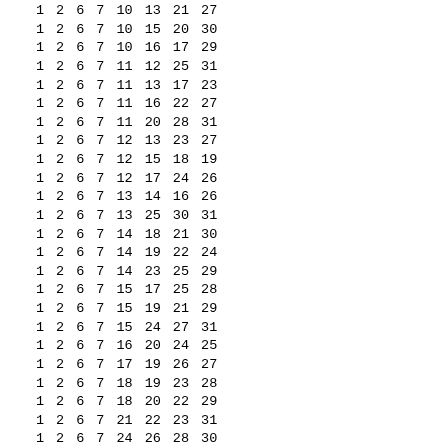| 1 | 2 | 6 | 7 | 10 | 13 | 21 | 27 |
| 1 | 2 | 6 | 7 | 10 | 15 | 20 | 30 |
| 1 | 2 | 6 | 7 | 10 | 16 | 17 | 29 |
| 1 | 2 | 6 | 7 | 11 | 12 | 25 | 31 |
| 1 | 2 | 6 | 7 | 11 | 13 | 17 | 23 |
| 1 | 2 | 6 | 7 | 11 | 16 | 22 | 27 |
| 1 | 2 | 6 | 7 | 11 | 20 | 28 | 31 |
| 1 | 2 | 6 | 7 | 12 | 13 | 23 | 27 |
| 1 | 2 | 6 | 7 | 12 | 15 | 18 | 19 |
| 1 | 2 | 6 | 7 | 12 | 17 | 24 | 26 |
| 1 | 2 | 6 | 7 | 13 | 14 | 16 | 26 |
| 1 | 2 | 6 | 7 | 13 | 25 | 30 | 31 |
| 1 | 2 | 6 | 7 | 14 | 18 | 21 | 30 |
| 1 | 2 | 6 | 7 | 14 | 19 | 22 | 24 |
| 1 | 2 | 6 | 7 | 14 | 23 | 25 | 29 |
| 1 | 2 | 6 | 7 | 15 | 17 | 25 | 28 |
| 1 | 2 | 6 | 7 | 15 | 19 | 21 | 29 |
| 1 | 2 | 6 | 7 | 15 | 24 | 27 | 31 |
| 1 | 2 | 6 | 7 | 16 | 20 | 24 | 25 |
| 1 | 2 | 6 | 7 | 17 | 19 | 26 | 27 |
| 1 | 2 | 6 | 7 | 18 | 19 | 23 | 28 |
| 1 | 2 | 6 | 7 | 18 | 20 | 22 | 29 |
| 1 | 2 | 6 | 7 | 21 | 22 | 23 | 31 |
| 1 | 2 | 6 | 7 | 24 | 26 | 28 | 30 |
| 1 | 2 | 6 | 8 | 9 | 10 | 18 | 24 |
| 1 | 2 | 6 | 8 | 9 | 11 | 20 | 31 |
| 1 | 2 | 6 | 8 | 9 | 14 | 25 | 26 |
| 1 | 2 | 6 | 8 | 9 | 15 | 28 | 30 |
| 1 | 2 | 6 | 8 | 9 | 16 | 18 | 24 |
| 1 | 2 | 6 | 8 | 9 | 21 | 23 | 29 |
| 1 | 2 | 6 | 8 | 10 | 11 | 13 | 17 |